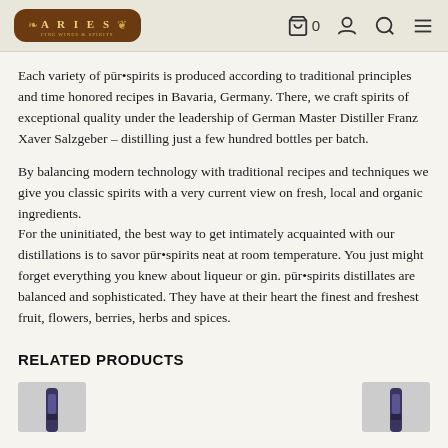ARIES — navigation with cart (0), account, search, menu icons
Each variety of pūr•spirits is produced according to traditional principles and time honored recipes in Bavaria, Germany. There, we craft spirits of exceptional quality under the leadership of German Master Distiller Franz Xaver Salzgeber – distilling just a few hundred bottles per batch.
By balancing modern technology with traditional recipes and techniques we give you classic spirits with a very current view on fresh, local and organic ingredients.
For the uninitiated, the best way to get intimately acquainted with our distillations is to savor pūr•spirits neat at room temperature. You just might forget everything you knew about liqueur or gin. pūr•spirits distillates are balanced and sophisticated. They have at their heart the finest and freshest fruit, flowers, berries, herbs and spices.
RELATED PRODUCTS
[Figure (photo): Two product bottle thumbnails partially visible at bottom of page]